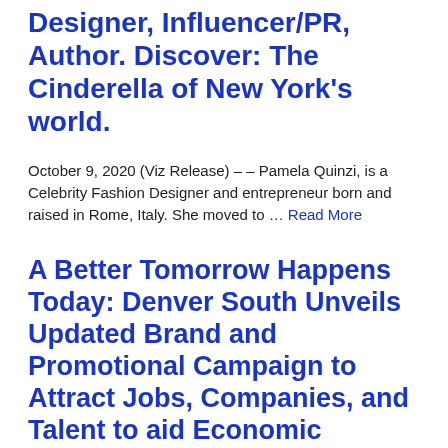Designer, Influencer/PR, Author. Discover: The Cinderella of New York's world.
October 9, 2020 (Viz Release) – – Pamela Quinzi, is a Celebrity Fashion Designer and entrepreneur born and raised in Rome, Italy. She moved to … Read More
A Better Tomorrow Happens Today: Denver South Unveils Updated Brand and Promotional Campaign to Attract Jobs, Companies, and Talent to aid Economic Recovery